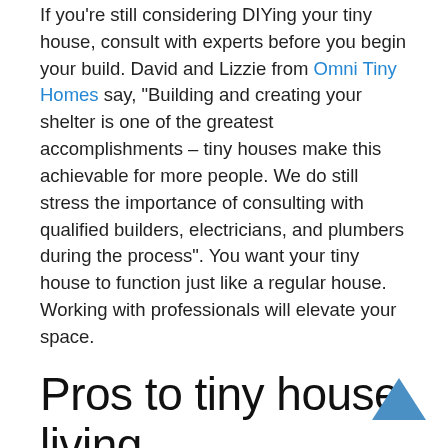If you're still considering DIYing your tiny house, consult with experts before you begin your build. David and Lizzie from Omni Tiny Homes say, "Building and creating your shelter is one of the greatest accomplishments – tiny houses make this achievable for more people. We do still stress the importance of consulting with qualified builders, electricians, and plumbers during the process". You want your tiny house to function just like a regular house. Working with professionals will elevate your space.
Pros to tiny house living
Living in a tiny house has numerous advantages. Here are a few reasons to start your tiny home